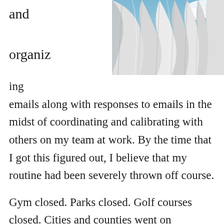and organizing
[Figure (photo): Close-up photograph of white or light-colored fabric folds against a blue sky background]
ing emails along with responses to emails in the midst of coordinating and calibrating with others on my team at work. By the time that I got this figured out, I believe that my routine had been severely thrown off course.

Gym closed. Parks closed. Golf courses closed. Cities and counties went on lockdown with curfews. States declared pandemic regulations and provided updates daily from the governor and leading public health officers. In the meantime, my waistline expanded and my weight loss crept back to prior numbers and beyond as I just tried to figure out what working from home